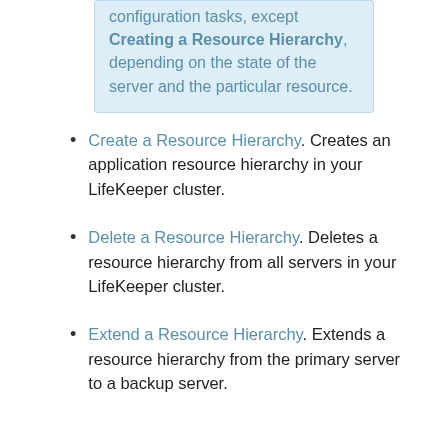configuration tasks, except Creating a Resource Hierarchy, depending on the state of the server and the particular resource.
Create a Resource Hierarchy. Creates an application resource hierarchy in your LifeKeeper cluster.
Delete a Resource Hierarchy. Deletes a resource hierarchy from all servers in your LifeKeeper cluster.
Extend a Resource Hierarchy. Extends a resource hierarchy from the primary server to a backup server.